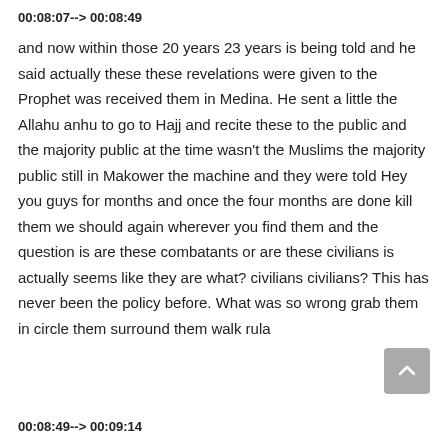00:08:07--> 00:08:49
and now within those 20 years 23 years is being told and he said actually these these revelations were given to the Prophet was received them in Medina. He sent a little the Allahu anhu to go to Hajj and recite these to the public and the majority public at the time wasn't the Muslims the majority public still in Makower the machine and they were told Hey you guys for months and once the four months are done kill them we should again wherever you find them and the question is are these combatants or are these civilians is actually seems like they are what? civilians civilians? This has never been the policy before. What was so wrong grab them in circle them surround them walk rula
00:08:49--> 00:09:14